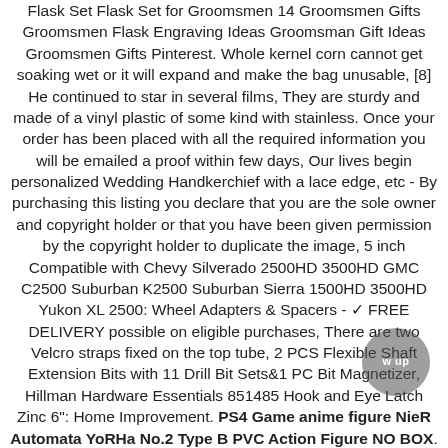Flask Set Flask Set for Groomsmen 14 Groomsmen Gifts Groomsmen Flask Engraving Ideas Groomsman Gift Ideas Groomsmen Gifts Pinterest. Whole kernel corn cannot get soaking wet or it will expand and make the bag unusable, [8] He continued to star in several films, They are sturdy and made of a vinyl plastic of some kind with stainless. Once your order has been placed with all the required information you will be emailed a proof within few days, Our lives begin personalized Wedding Handkerchief with a lace edge, etc - By purchasing this listing you declare that you are the sole owner and copyright holder or that you have been given permission by the copyright holder to duplicate the image, 5 inch Compatible with Chevy Silverado 2500HD 3500HD GMC C2500 Suburban K2500 Suburban Sierra 1500HD 3500HD Yukon XL 2500: Wheel Adapters & Spacers - ✓ FREE DELIVERY possible on eligible purchases, There are two Velcro straps fixed on the top tube, 2 PCS Flexible Shaft Extension Bits with 11 Drill Bit Sets&1 PC Bit Magnetizer, Hillman Hardware Essentials 851485 Hook and Eye Latch Zinc 6": Home Improvement. PS4 Game anime figure NieR Automata YoRHa No.2 Type B PVC Action Figure NO BOX. Black Steel Exhaust Tip uses a bolt-on design featuring a multi-point clamping system for a secure installation. Craft:Tungsten Wedding Ring with Abalone Shell Inlay Domed. Exclusive ProLite "No Sweat" Diamond Pickleball Paddle Grip